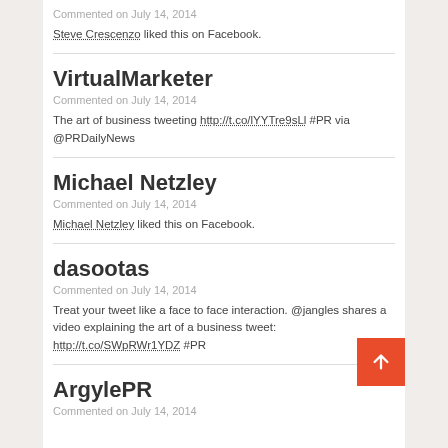Commented on July 14, 2014
Steve Crescenzo liked this on Facebook.
VirtualMarketer
Commented on July 14, 2014
The art of business tweeting http://t.co/lYYTre9sLl #PR via @PRDailyNews
Michael Netzley
Commented on July 14, 2014
Michael Netzley liked this on Facebook.
dasootas
Commented on July 14, 2014
Treat your tweet like a face to face interaction. @jangles shares a video explaining the art of a business tweet: http://t.co/SWpRWr1YDZ #PR
ArgylePR
Commented on July 14, 2014